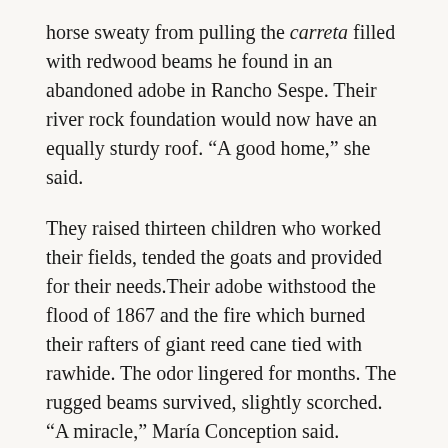horse sweaty from pulling the carreta filled with redwood beams he found in an abandoned adobe in Rancho Sespe. Their river rock foundation would now have an equally sturdy roof. “A good home,” she said.
They raised thirteen children who worked their fields, tended the goats and provided for their needs.Their adobe withstood the flood of 1867 and the fire which burned their rafters of giant reed cane tied with rawhide. The odor lingered for months. The rugged beams survived, slightly scorched. “A miracle,” María Conception said.
Minutes passed to hours as the chile roasted, was peeled, and plucked clean of seeds. Unspoken anxiety stretched in the space